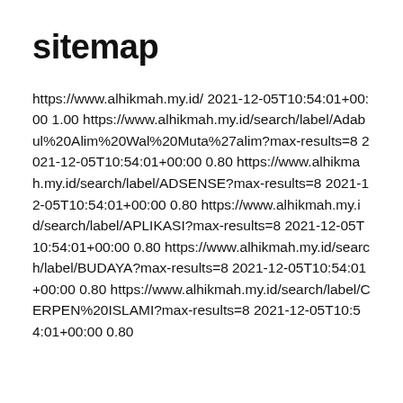sitemap
https://www.alhikmah.my.id/ 2021-12-05T10:54:01+00:00 1.00 https://www.alhikmah.my.id/search/label/Adabul%20Alim%20Wal%20Muta%27alim?max-results=8 2021-12-05T10:54:01+00:00 0.80 https://www.alhikmah.my.id/search/label/ADSENSE?max-results=8 2021-12-05T10:54:01+00:00 0.80 https://www.alhikmah.my.id/search/label/APLIKASI?max-results=8 2021-12-05T10:54:01+00:00 0.80 https://www.alhikmah.my.id/search/label/BUDAYA?max-results=8 2021-12-05T10:54:01+00:00 0.80 https://www.alhikmah.my.id/search/label/CERPEN%20ISLAMI?max-results=8 2021-12-05T10:54:01+00:00 0.80